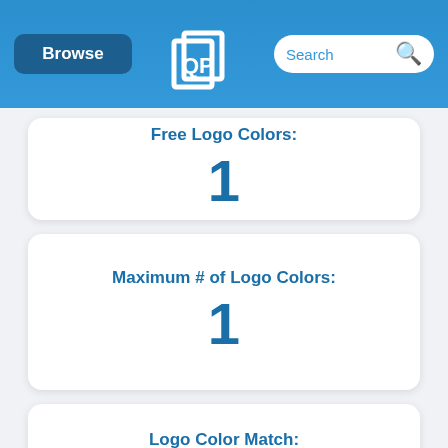Browse | [QP Logo] | Search
Free Logo Colors: 1
Maximum # of Logo Colors: 1
Logo Color Match: FREE